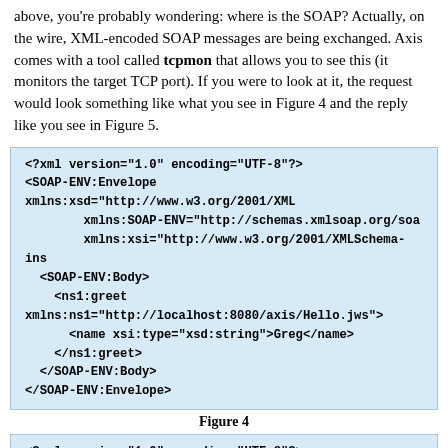above, you're probably wondering: where is the SOAP? Actually, on the wire, XML-encoded SOAP messages are being exchanged. Axis comes with a tool called tcpmon that allows you to see this (it monitors the target TCP port). If you were to look at it, the request would look something like what you see in Figure 4 and the reply like you see in Figure 5.
[Figure (screenshot): Code box showing SOAP request XML: <?xml version="1.0" encoding="UTF-8"?> <SOAP-ENV:Envelope xmlns:xsd="http://www.w3.org/2001/XML... xmlns:SOAP-ENV="http://schemas.xmlsoap.org/soa... xmlns:xsi="http://www.w3.org/2001/XMLSchema-ins... <SOAP-ENV:Body> <ns1:greet xmlns:ns1="http://localhost:8080/axis/Hello.jws"> <name xsi:type="xsd:string">Greg</name> </ns1:greet> </SOAP-ENV:Body> </SOAP-ENV:Envelope>]
Figure 4
[Figure (screenshot): Code box showing SOAP response XML beginning: <?xml version="1.0" encoding="UTF-8"?> <SOAP-ENV:Envelope xmlns:xsd="http://www.w3.org/2001/XML... xmlns:SOAP-ENV="http://schemas.xmlsoap.org/soa... xmlns:xsi="http://www.w3.org/2001/XMLSchema-ins... <SOAP-ENV:Body> <ns1:greetResponse xmlns:ns1="http://localhost:8080/axis/He...]